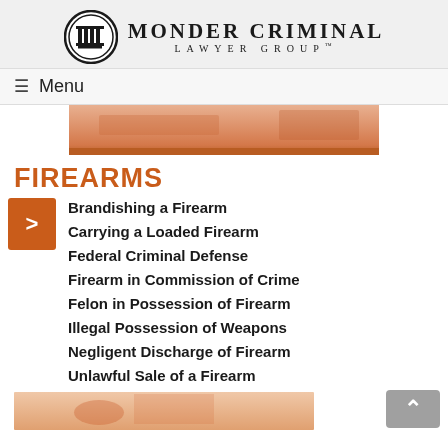[Figure (logo): Monder Criminal Lawyer Group logo with circular column emblem and text]
≡ Menu
[Figure (photo): Partial image with orange/brown tint related to firearms]
FIREARMS
Brandishing a Firearm
Carrying a Loaded Firearm
Federal Criminal Defense
Firearm in Commission of Crime
Felon in Possession of Firearm
Illegal Possession of Weapons
Negligent Discharge of Firearm
Unlawful Sale of a Firearm
[Figure (photo): Partial image at bottom with orange tint, partially visible]